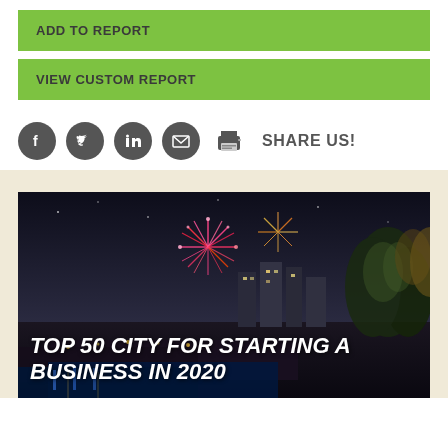ADD TO REPORT
VIEW CUSTOM REPORT
SHARE US!
[Figure (infographic): Social share icons: Facebook, Twitter, LinkedIn, Email, Print followed by SHARE US! label]
[Figure (photo): Night cityscape with fireworks and city buildings, trees lit up at night]
TOP 50 CITY FOR STARTING A BUSINESS IN 2020